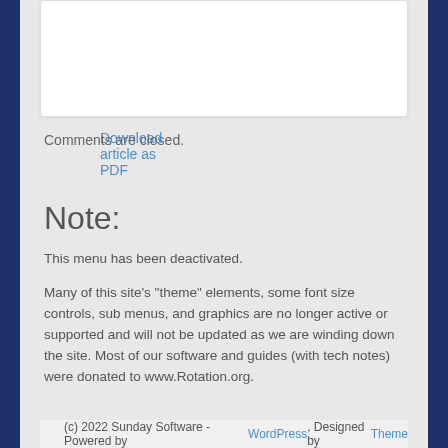Download article as PDF
Comments are closed.
Note:
This menu has been deactivated.
Many of this site's "theme" elements, some font size controls, sub menus, and graphics are no longer active or supported and will not be updated as we are winding down the site. Most of our software and guides (with tech notes) were donated to www.Rotation.org.
(c) 2022 Sunday Software - Powered by WordPress, Designed by Theme